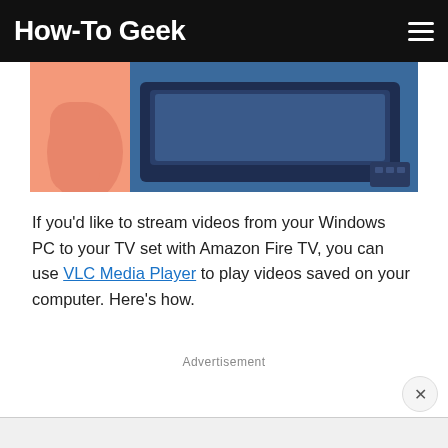How-To Geek
[Figure (illustration): Partial view of an illustrated hero image showing a TV set with a pink and blue background, partially cropped at the top]
If you’d like to stream videos from your Windows PC to your TV set with Amazon Fire TV, you can use VLC Media Player to play videos saved on your computer. Here’s how.
Advertisement